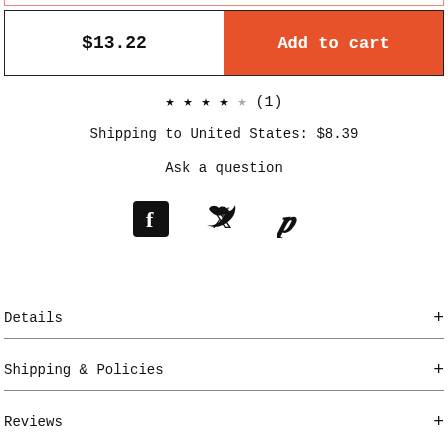$13.22  Add to cart
★★★★☆ (1)
Shipping to United States: $8.39
Ask a question
[Figure (infographic): Social share icons: Facebook, Twitter, Pinterest]
Details +
Shipping & Policies +
Reviews +